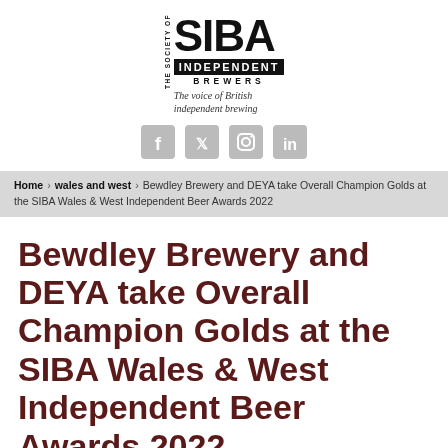[Figure (logo): SIBA - The Society of Independent Brewers logo with tagline 'The voice of British independent brewing']
[Figure (other): Social media icons: Facebook, Twitter, Instagram, LinkedIn]
Home > wales and west > Bewdley Brewery and DEYA take Overall Champion Golds at the SIBA Wales & West Independent Beer Awards 2022
Bewdley Brewery and DEYA take Overall Champion Golds at the SIBA Wales & West Independent Beer Awards 2022